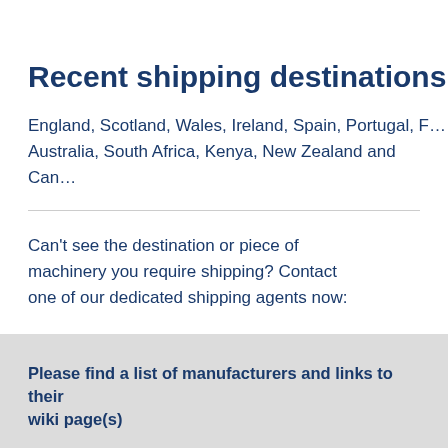Recent shipping destinations inclu…
England, Scotland, Wales, Ireland, Spain, Portugal, F… Australia, South Africa, Kenya, New Zealand and Can…
Can't see the destination or piece of machinery you require shipping? Contact one of our dedicated shipping agents now:
Please find a list of manufacturers and links to their wiki page(s)
Case IH
Caterpillar
Challenger